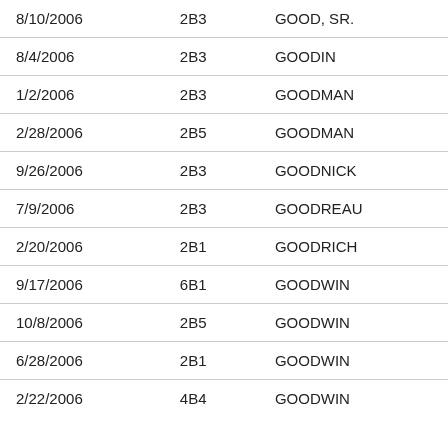| 8/10/2006 | 2B3 | GOOD, SR. |
| 8/4/2006 | 2B3 | GOODIN |
| 1/2/2006 | 2B3 | GOODMAN |
| 2/28/2006 | 2B5 | GOODMAN |
| 9/26/2006 | 2B3 | GOODNICK |
| 7/9/2006 | 2B3 | GOODREAU |
| 2/20/2006 | 2B1 | GOODRICH |
| 9/17/2006 | 6B1 | GOODWIN |
| 10/8/2006 | 2B5 | GOODWIN |
| 6/28/2006 | 2B1 | GOODWIN |
| 2/22/2006 | 4B4 | GOODWIN |